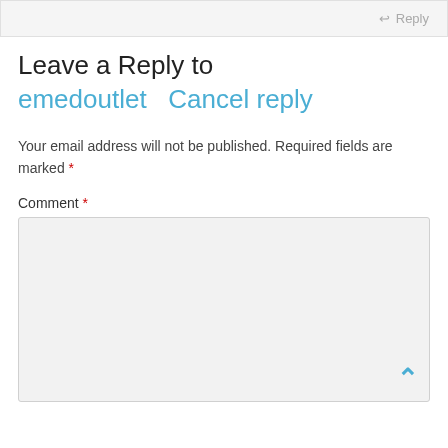Reply
Leave a Reply to emedoutlet  Cancel reply
Your email address will not be published. Required fields are marked *
Comment *
[Figure (other): Comment text area input box (empty, light gray background) with a scroll-up chevron arrow in blue at the bottom right corner]